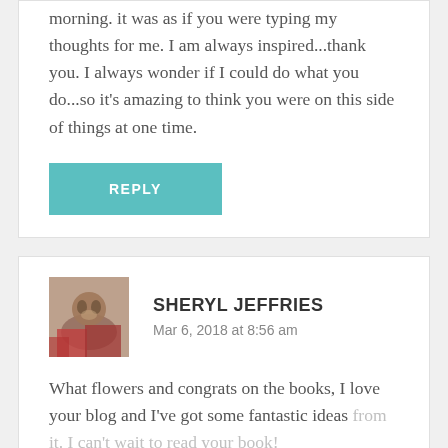morning. it was as if you were typing my thoughts for me. I am always inspired...thank you. I always wonder if I could do what you do...so it's amazing to think you were on this side of things at one time.
REPLY
SHERYL JEFFRIES
Mar 6, 2018 at 8:56 am
What flowers and congrats on the books, I love your blog and I've got some fantastic ideas from it. I can't wait to read your book!